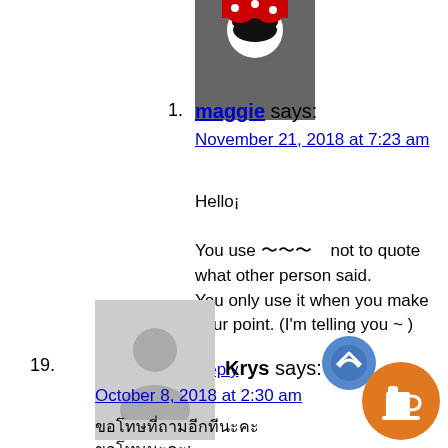1. maggie says: November 21, 2018 at 7:23 am
Hello¡

You use 〜〜〜   not to quote what other person said.
You only use it when you make your point. (I'm telling you ~ )
Reply
19. Krys says: October 8, 2018 at 2:30 am
ขอโทษที่ถามอีกทีนะคะ
ขอโทษนะคะ:
How often do we use 'tte' to replace the 'ha' particle in day to day conversation? I hear it quite a bit but i'm unsure of whether I'm misinterpreting it or...

Thank you!